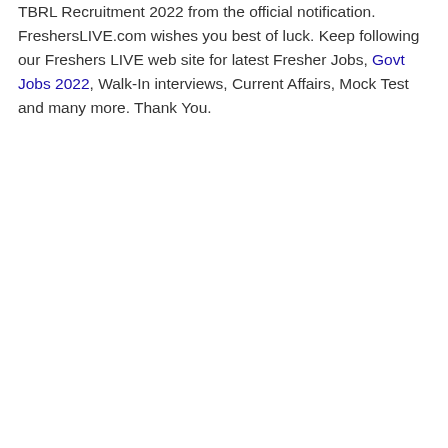TBRL Recruitment 2022 from the official notification. FreshersLIVE.com wishes you best of luck. Keep following our Freshers LIVE web site for latest Fresher Jobs, Govt Jobs 2022, Walk-In interviews, Current Affairs, Mock Test and many more. Thank You.